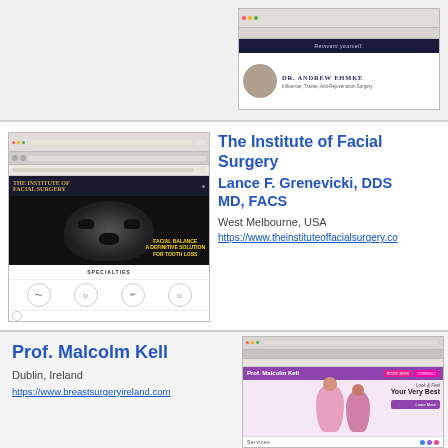[Figure (screenshot): Screenshot of Dr. Andrew Ehmke website showing browser interface with doctor photo and name]
[Figure (screenshot): Screenshot of The Institute of Facial Surgery website showing skull X-ray image and dental implant advertisement]
The Institute of Facial Surgery
Lance F. Grenevicki, DDS MD, FACS
West Melbourne, USA
https://www.theinstituteoffacialsurgery.co
Prof. Malcolm Kell
Dublin, Ireland
https://www.breastsurgeryireland.com
[Figure (screenshot): Screenshot of Prof. Malcolm Kell website showing breast surgery Ireland with two women in pink and 'Look & Feel Your Very Best' tagline]